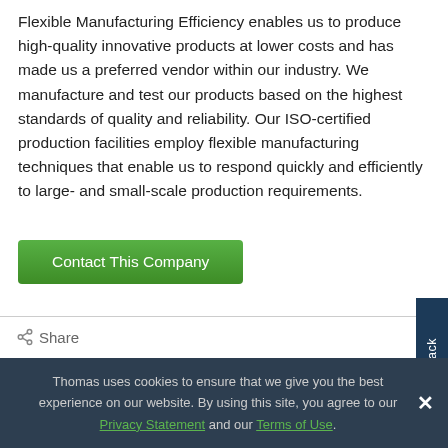Flexible Manufacturing Efficiency enables us to produce high-quality innovative products at lower costs and has made us a preferred vendor within our industry. We manufacture and test our products based on the highest standards of quality and reliability. Our ISO-certified production facilities employ flexible manufacturing techniques that enable us to respond quickly and efficiently to large- and small-scale production requirements.
Contact This Company
Share
Feedback
Thomas uses cookies to ensure that we give you the best experience on our website. By using this site, you agree to our Privacy Statement and our Terms of Use.